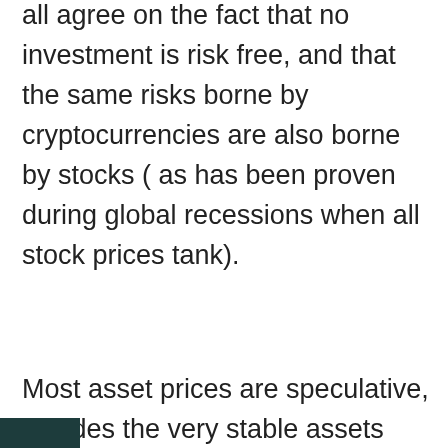all agree on the fact that no investment is risk free, and that the same risks borne by cryptocurrencies are also borne by stocks ( as has been proven during global recessions when all stock prices tank).
Most asset prices are speculative, besides the very stable assets such as gold whose prices tend to gradually rise ( and to move in the opposite direction with stocks) during an economic crisis. One may need to research which assets they want to include in their retirement investment portfolio, but I would recommend diversification, as an approach to